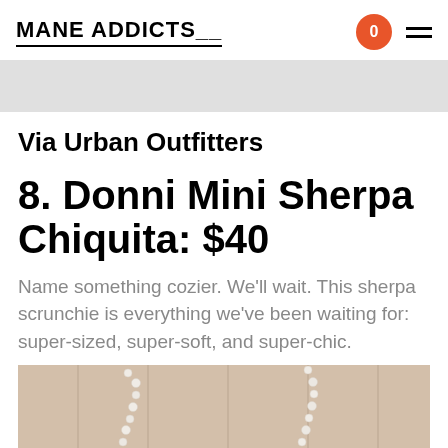MANE ADDICTS
[Figure (photo): Gray banner/hero image strip]
Via Urban Outfitters
8. Donni Mini Sherpa Chiquita: $40
Name something cozier. We'll wait. This sherpa scrunchie is everything we've been waiting for: super-sized, super-soft, and super-chic.
[Figure (photo): Close-up photo of a beige sherpa fabric scrunchie with a pearl necklace draped over it]